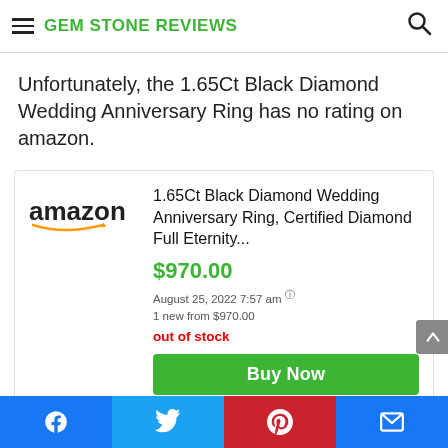GEM STONE REVIEWS
Unfortunately, the 1.65Ct Black Diamond Wedding Anniversary Ring has no rating on amazon.
[Figure (logo): Amazon logo with orange smile arrow]
1.65Ct Black Diamond Wedding Anniversary Ring, Certified Diamond Full Eternity...
$970.00
August 25, 2022 7:57 am ⓘ
1 new from $970.00
out of stock
Buy Now
Facebook | Twitter | Pinterest | Email